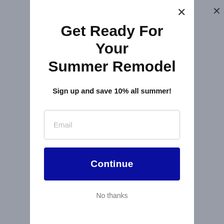Get Ready For Your Summer Remodel
Sign up and save 10% all summer!
Email
Continue
No thanks